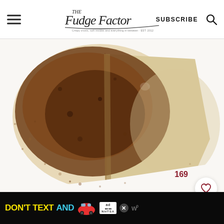The Fudge Factor — SUBSCRIBE
[Figure (photo): Close-up top-down view of a flatbread or tortilla dusted with a heavy layer of dark brown cinnamon sugar mixture, partially folded, on a white surface with scattered spice crumbs]
169
[Figure (other): Heart/save button (white circle) and search button (dark red circle with magnifying glass icon)]
[Figure (infographic): Advertisement banner: DON'T TEXT AND [car emoji] with NHTSA ad logo and close button]